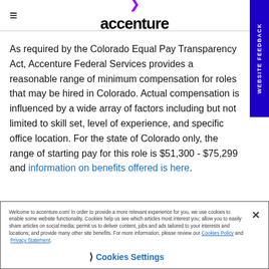accenture
As required by the Colorado Equal Pay Transparency Act, Accenture Federal Services provides a reasonable range of minimum compensation for roles that may be hired in Colorado. Actual compensation is influenced by a wide array of factors including but not limited to skill set, level of experience, and specific office location. For the state of Colorado only, the range of starting pay for this role is $51,300 - $75,299 and information on benefits offered is here.
Welcome to accenture.com! In order to provide a more relevant experience for you, we use cookies to enable some website functionality. Cookies help us see which articles most interest you; allow you to easily share articles on social media; permit us to deliver content, jobs and ads tailored to your interests and locations; and provide many other site benefits. For more information, please review our Cookies Policy and Privacy Statement.
Cookies Settings